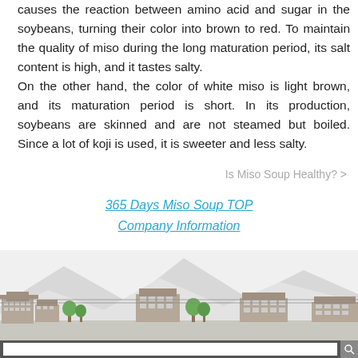causes the reaction between amino acid and sugar in the soybeans, turning their color into brown to red. To maintain the quality of miso during the long maturation period, its salt content is high, and it tastes salty. On the other hand, the color of white miso is light brown, and its maturation period is short. In its production, soybeans are skinned and are not steamed but boiled. Since a lot of koji is used, it is sweeter and less salty.
Is Miso Soup Healthy? >
365 Days Miso Soup TOP
Company Information
[Figure (illustration): Illustrated Japanese townscape with mountains in background, buildings and trees in foreground, light grey/blue palette]